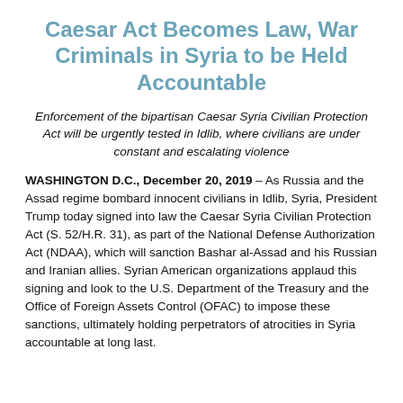Caesar Act Becomes Law, War Criminals in Syria to be Held Accountable
Enforcement of the bipartisan Caesar Syria Civilian Protection Act will be urgently tested in Idlib, where civilians are under constant and escalating violence
WASHINGTON D.C., December 20, 2019 – As Russia and the Assad regime bombard innocent civilians in Idlib, Syria, President Trump today signed into law the Caesar Syria Civilian Protection Act (S. 52/H.R. 31), as part of the National Defense Authorization Act (NDAA), which will sanction Bashar al-Assad and his Russian and Iranian allies. Syrian American organizations applaud this signing and look to the U.S. Department of the Treasury and the Office of Foreign Assets Control (OFAC) to impose these sanctions, ultimately holding perpetrators of atrocities in Syria accountable at long last.